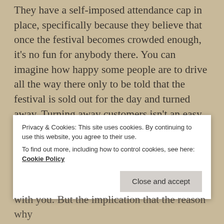They have a self-imposed attendance cap in place, specifically because they believe that once the festival becomes crowded enough, it's no fun for anybody there. You can imagine how happy some people are to drive all the way there only to be told that the festival is sold out for the day and turned away. Turning away customers isn't an easy business decision, and it's not a decision that would be made by people who don't care about their audience.
If you...
Privacy & Cookies: This site uses cookies. By continuing to use this website, you agree to their use. To find out more, including how to control cookies, see here: Cookie Policy
Close and accept
with you. But the implication that the reason...